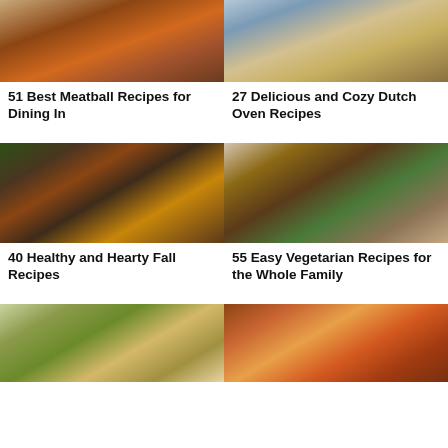[Figure (photo): Meatball sub sandwiches with red sauce on sesame hoagie rolls on a baking tray]
51 Best Meatball Recipes for Dining In
[Figure (photo): Person holding a blue Dutch oven filled with corn and vegetable soup]
27 Delicious and Cozy Dutch Oven Recipes
[Figure (photo): Black bean chili served in white bowls with avocado on a dark wooden table with blue napkin]
40 Healthy and Hearty Fall Recipes
[Figure (photo): Vegetarian baked dish with black beans, avocado and rolled tortillas in a white baking dish]
55 Easy Vegetarian Recipes for the Whole Family
[Figure (photo): Stuffed zucchini boats with meat filling on a white oval platter]
[Figure (photo): Colorful chicken and pineapple skewers on a dark plate]